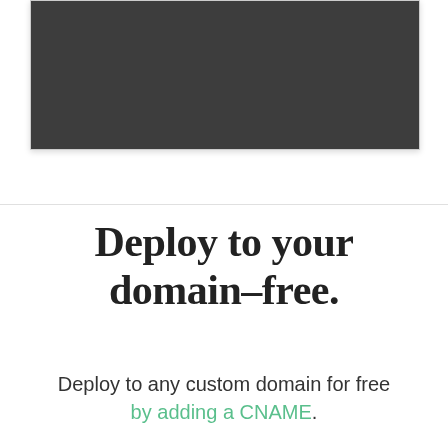[Figure (screenshot): Dark gray screenshot area showing a web interface or application window, partially cropped]
Deploy to your domain–free.
Deploy to any custom domain for free by adding a CNAME.